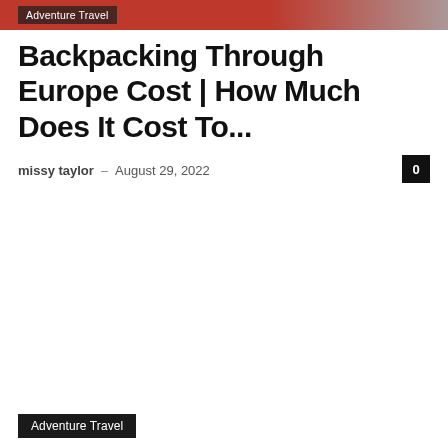[Figure (photo): Partial top image showing red background, cropped travel photo]
Adventure Travel
Backpacking Through Europe Cost | How Much Does It Cost To...
missy taylor – August 29, 2022
[Figure (photo): Large blank/white image area in middle of page]
Adventure Travel